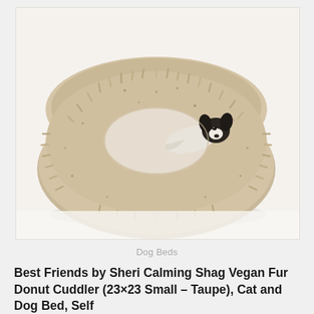[Figure (photo): A small Boston Terrier or similar dog lying inside a round, fluffy taupe/beige shag donut-style pet bed. The bed has long fur-like texture and a donut/circular shape with a center well where the dog rests.]
Dog Beds
Best Friends by Sheri Calming Shag Vegan Fur Donut Cuddler (23×23 Small – Taupe), Cat and Dog Bed, Self